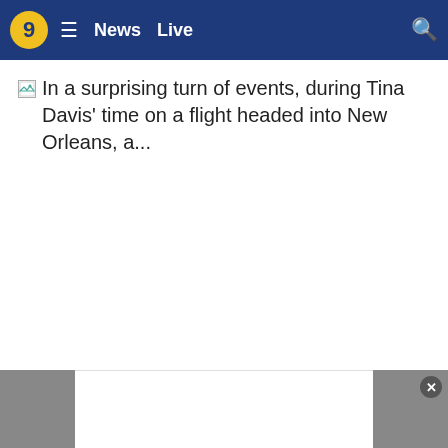9 ≡ News Live 🔍
[Figure (screenshot): Broken image placeholder icon for a news article thumbnail]
In a surprising turn of events, during Tina Davis' time on a flight headed into New Orleans, a...
[Figure (other): Advertisement bar at the bottom with grey side panels and a close button]